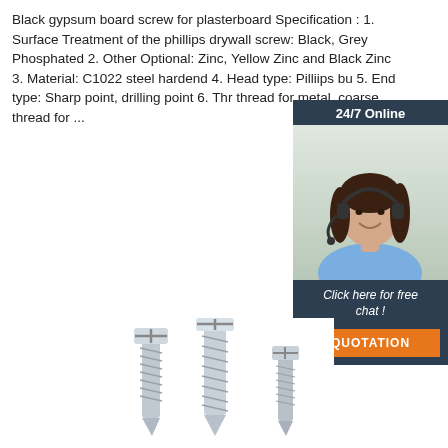Black gypsum board screw for plasterboard Specification : 1. Surface Treatment of the phillips drywall screw: Black, Grey Phosphated 2. Other Optional: Zinc, Yellow Zinc and Black Zinc 3. Material: C1022 steel hardend 4. Head type: Pilliips bu 5. End type: Sharp point, drilling point 6. Thr thread for metal, coarse thread for ...
[Figure (other): 24/7 Online chat widget with a woman wearing a headset, dark background, with 'Click here for free chat!' text and an orange QUOTATION button]
[Figure (photo): Photo of metallic gypsum board screws / drywall screws at the bottom of the page]